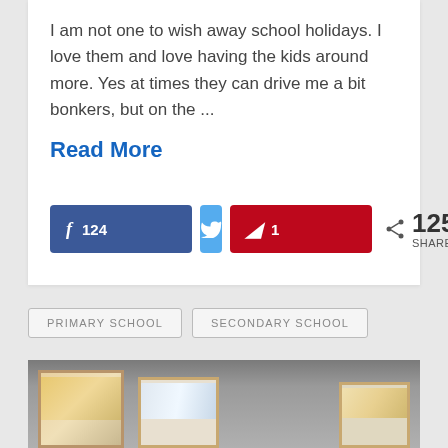I am not one to wish away school holidays. I love them and love having the kids around more. Yes at times they can drive me a bit bonkers, but on the ...
Read More
[Figure (infographic): Social sharing buttons: Facebook (124), Twitter, Pinterest (1), and total share count 125 SHARES]
PRIMARY SCHOOL
SECONDARY SCHOOL
[Figure (photo): Photo strip showing framed pictures on a shelf against a grey wall]